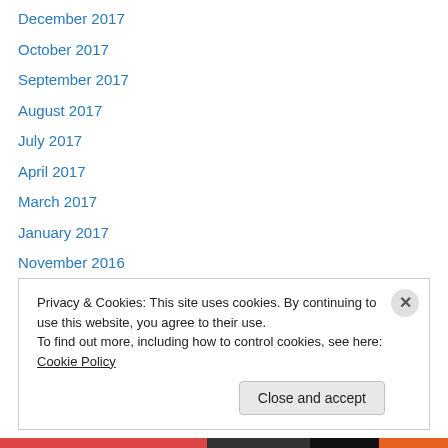December 2017
October 2017
September 2017
August 2017
July 2017
April 2017
March 2017
January 2017
November 2016
August 2016
May 2016
March 2016
February 2016
Privacy & Cookies: This site uses cookies. By continuing to use this website, you agree to their use. To find out more, including how to control cookies, see here: Cookie Policy
Close and accept